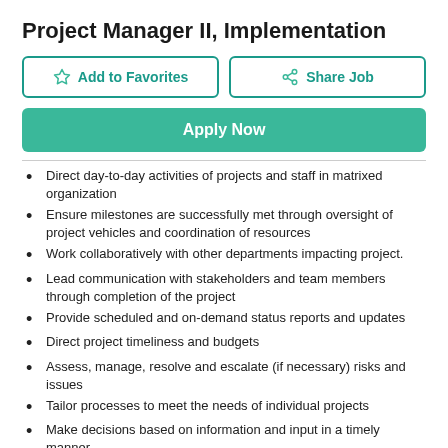Project Manager II, Implementation
[Figure (other): Two buttons: 'Add to Favorites' (with star icon) and 'Share Job' (with share icon), outlined in teal]
[Figure (other): Green 'Apply Now' button]
Direct day-to-day activities of projects and staff in matrixed organization
Ensure milestones are successfully met through oversight of project vehicles and coordination of resources
Work collaboratively with other departments impacting project.
Lead communication with stakeholders and team members through completion of the project
Provide scheduled and on-demand status reports and updates
Direct project timeliness and budgets
Assess, manage, resolve and escalate (if necessary) risks and issues
Tailor processes to meet the needs of individual projects
Make decisions based on information and input in a timely manner
Work on projects of high complexity
QUALIFICATIONS REQUIRED: